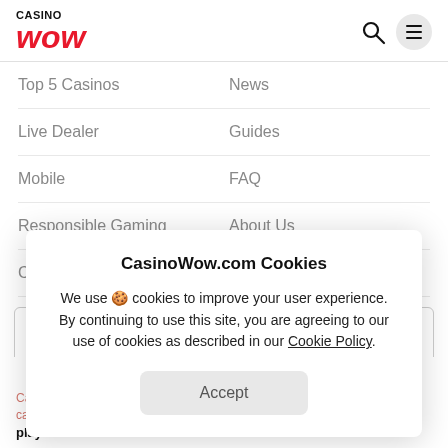CASINO WOW
Top 5 Casinos    News
Live Dealer    Guides
Mobile    FAQ
Responsible Gaming    About Us
Contact Us
[Figure (screenshot): Cookie consent modal dialog for CasinoWow.com with title 'CasinoWow.com Cookies', body text about cookies, and an Accept button]
CasinoWow is your favourite casino comparison site, providing helpful guides, casino news, reviews and information for players worldwide. We're on a mission to create the world's best